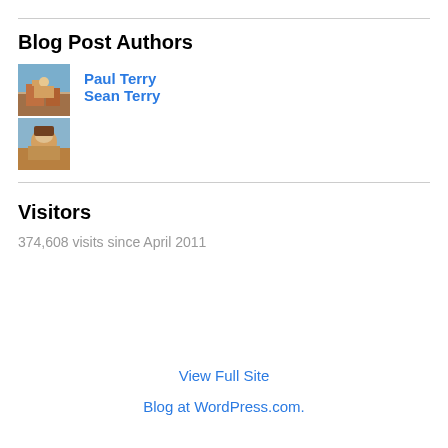Blog Post Authors
Paul Terry
Sean Terry
Visitors
374,608 visits since April 2011
View Full Site
Blog at WordPress.com.